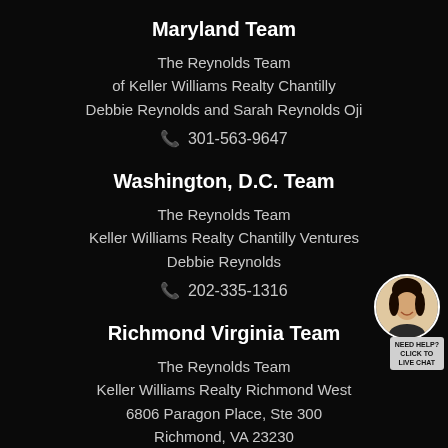Maryland Team
The Reynolds Team
of Keller Williams Realty Chantilly
Debbie Reynolds and Sarah Reynolds Oji
📞 301-563-9647
Washington, D.C. Team
The Reynolds Team
Keller Williams Realty Chantilly Ventures
Debbie Reynolds
📞 202-335-1316
Richmond Virginia Team
The Reynolds Team
Keller Williams Realty Richmond West
6806 Paragon Place, Ste 300
Richmond, VA 23230